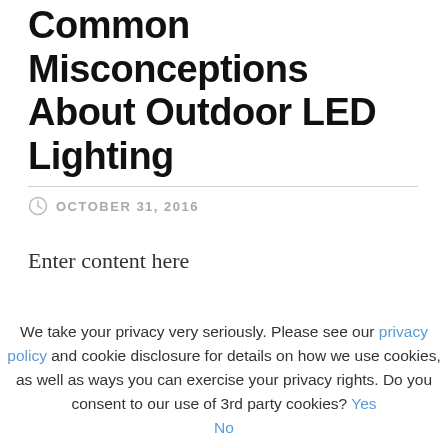Common Misconceptions About Outdoor LED Lighting
OCTOBER 31, 2016
Enter content here
Previous Video
Next Lookbook
We take your privacy very seriously. Please see our privacy policy and cookie disclosure for details on how we use cookies, as well as ways you can exercise your privacy rights. Do you consent to our use of 3rd party cookies? Yes No